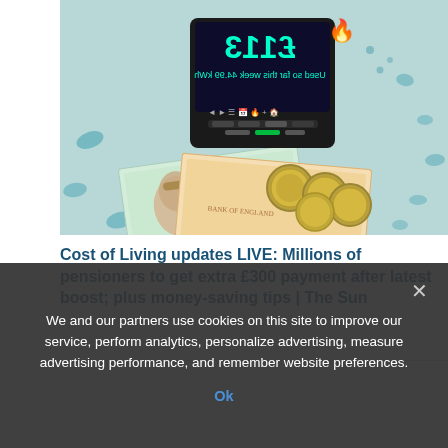[Figure (photo): Photo of a smart energy meter displaying £113 usage and showing 'Used so far this week 44.99 kWh', placed on top of British pound banknotes and coins (£5 note showing Queen's portrait, £10 note, and several pound coins) on a light blue patterned surface.]
Cost of Living updates LIVE: Millions of pensioners to get extra £300 payment after latest boost; plus money-saving tips | The Sun
We and our partners use cookies on this site to improve our service, perform analytics, personalize advertising, measure advertising performance, and remember website preferences.
Ok